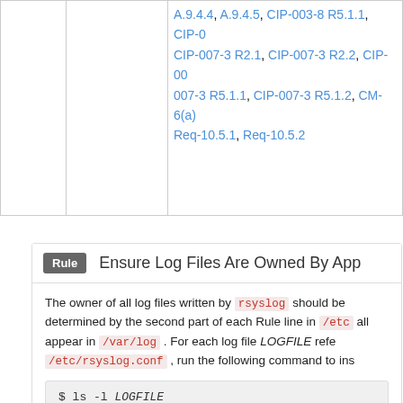|  |  |  |
| --- | --- | --- |
|  |  | A.9.4.4, A.9.4.5, CIP-003-8 R5.1.1, CIP-0... CIP-007-3 R2.1, CIP-007-3 R2.2, CIP-007-3 R5.1.1, CIP-007-3 R5.1.2, CM-6(a) Req-10.5.1, Req-10.5.2 |
Rule  Ensure Log Files Are Owned By App...
The owner of all log files written by rsyslog should be determined by the second part of each Rule line in /etc... all appear in /var/log . For each log file LOGFILE refe... /etc/rsyslog.conf , run the following command to ins...
If the owner is not adm , run the following command to c...